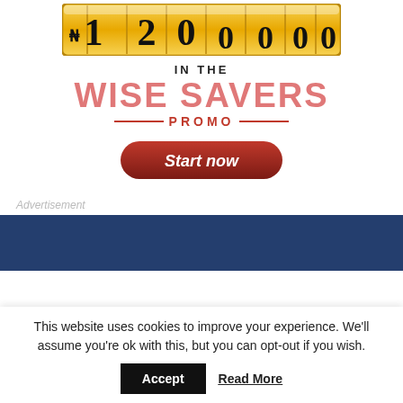[Figure (illustration): Slot machine style display showing N120,000,000 in gold/yellow drum-style digit tiles]
IN THE
WISE SAVERS PROMO
[Figure (other): Red pill-shaped button with italic white text 'Start now']
Advertisement
[Figure (other): Dark navy blue banner/advertisement block]
This website uses cookies to improve your experience. We'll assume you're ok with this, but you can opt-out if you wish.
Accept   Read More